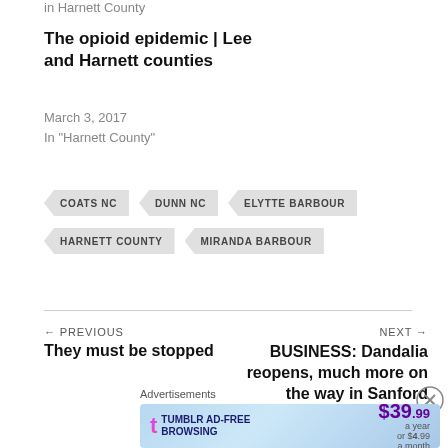in Harnett County
The opioid epidemic | Lee and Harnett counties
March 3, 2017
In "Harnett County"
COATS NC
DUNN NC
ELYTTE BARBOUR
HARNETT COUNTY
MIRANDA BARBOUR
← PREVIOUS
They must be stopped
NEXT →
BUSINESS: Dandalia reopens, much more on the way in Sanford
Advertisements
[Figure (infographic): Tumblr Ad-Free Browsing advertisement banner showing $39.99 a year or $4.99 a month]